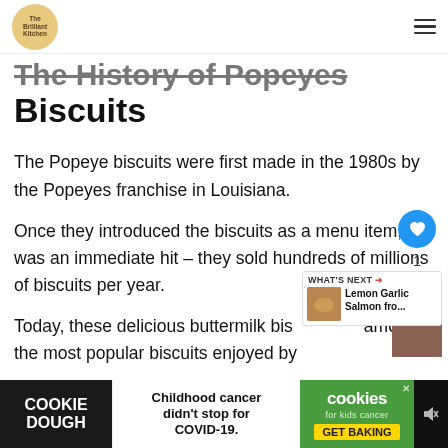The Brilliant Kitchen
The History of Popeyes Biscuits
The Popeye biscuits were first made in the 1980s by the Popeyes franchise in Louisiana.
Once they introduced the biscuits as a menu item, it was an immediate hit – they sold hundreds of millions of biscuits per year.
Today, these delicious buttermilk biscuits are among the most popular biscuits enjoyed by fo...
[Figure (other): Cookie Dough advertisement banner: Childhood cancer didn't stop for COVID-19. Cookies for kids cancer. GET BAKING.]